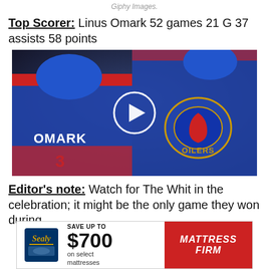Giphy Images.
Top Scorer: Linus Omark 52 games 21 G 37 assists 58 points
[Figure (photo): Video thumbnail showing two Edmonton Oilers hockey players in blue and orange jerseys, one with OMARK on the back, with a play button overlay in the center]
Editor's note: Watch for The Whit in the celebration; it might be the only game they won during
[Figure (other): Advertisement banner: Save up to $700 on select mattresses - Mattress Firm, with Sealy logo]